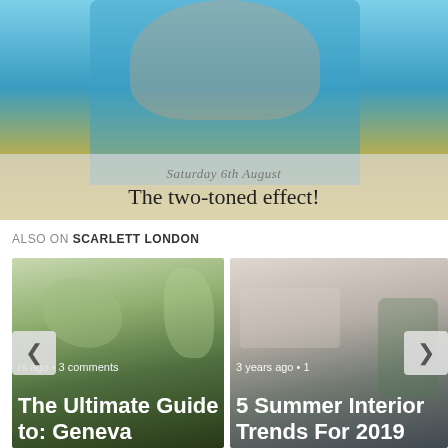[Figure (photo): Woman in blue dress with bird/swallow pattern, standing indoors. Overlay at bottom with date and title text.]
Saturday 6th August
The two-toned effect!
ALSO ON SCARLETT LONDON
[Figure (photo): Outdoor market scene with trees and mountains in background. Card shows: 'rs ago • 3 comments' and title 'The Ultimate Guide to: Geneva']
[Figure (photo): Interior room scene. Card shows: '3 years ago • 1' and title '5 Summer Interior Trends For 2019']